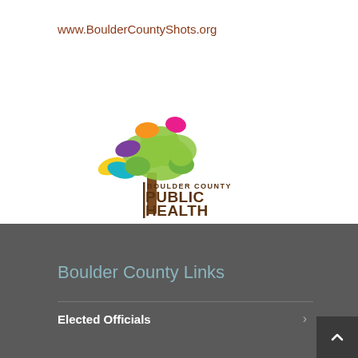www.BoulderCountyShots.org
[Figure (logo): Boulder County Public Health logo — colorful tree with multi-colored leaves (yellow, purple, orange, teal, green, pink) and a brown trunk, with text 'BOULDER COUNTY PUBLIC HEALTH' in brown/dark text beside and below.]
Boulder County Links
Elected Officials